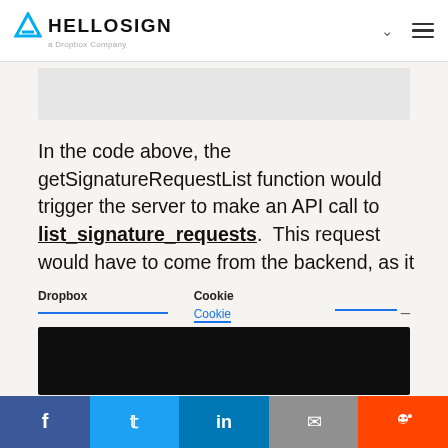HelloSign a Dropbox Company
[Figure (screenshot): Gray code block area at the top of the content]
In the code above, the getSignatureRequestList function would trigger the server to make an API call to list_signature_requests. This request would have to come from the backend, as it
Dropbox  Cookie  Cookie
[Figure (screenshot): Black embedded media block]
[Figure (screenshot): White content box]
f  t  in  mail  reddit social share buttons